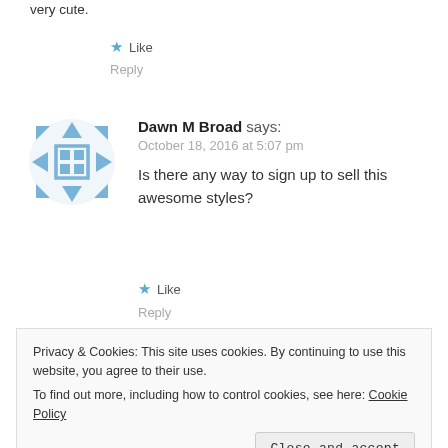very cute.
★ Like
Reply
[Figure (illustration): Blue geometric avatar icon with triangles and squares in a circular pattern]
Dawn M Broad says:
October 18, 2016 at 5:07 pm
Is there any way to sign up to sell this awesome styles?
★ Like
Reply
Privacy & Cookies: This site uses cookies. By continuing to use this website, you agree to their use.
To find out more, including how to control cookies, see here: Cookie Policy
Close and accept